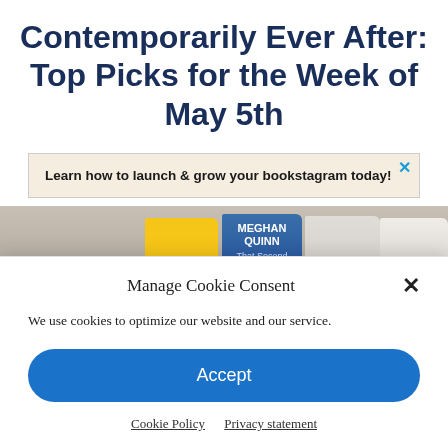Contemporarily Ever After: Top Picks for the Week of May 5th
[Figure (infographic): Advertisement banner with beige/tan textured background. Text reads: 'Learn how to launch & grow your bookstagram today!' with a blue X close button in the top right corner.]
[Figure (photo): Horizontal strip showing books on a shelf against a stone/brick wall background. Red text 'TOP' visible on left. Books visible include 'The Bride' (yellow cover), a Meghan Quinn book 'That Second' (blue cover), and other books with portrait covers.]
Manage Cookie Consent
We use cookies to optimize our website and our service.
Accept
Cookie Policy   Privacy statement